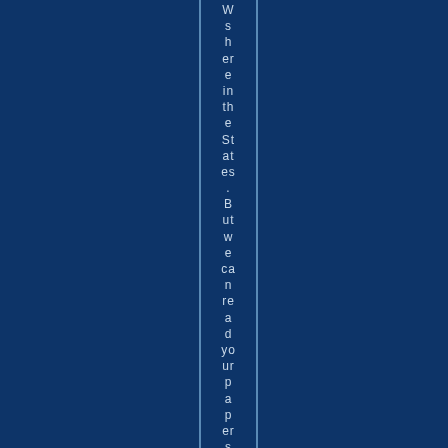Wshere in the States. But we can read your papers onli